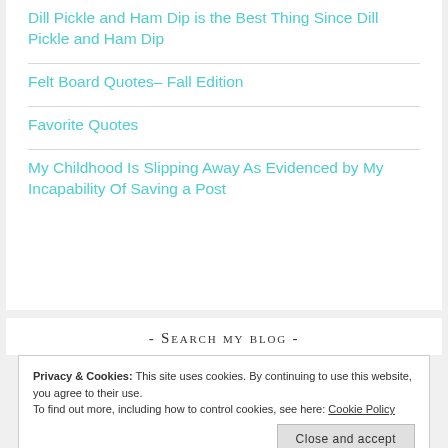Dill Pickle and Ham Dip is the Best Thing Since Dill Pickle and Ham Dip
Felt Board Quotes– Fall Edition
Favorite Quotes
My Childhood Is Slipping Away As Evidenced by My Incapability Of Saving a Post
- Search my blog -
Privacy & Cookies: This site uses cookies. By continuing to use this website, you agree to their use.
To find out more, including how to control cookies, see here: Cookie Policy
Close and accept